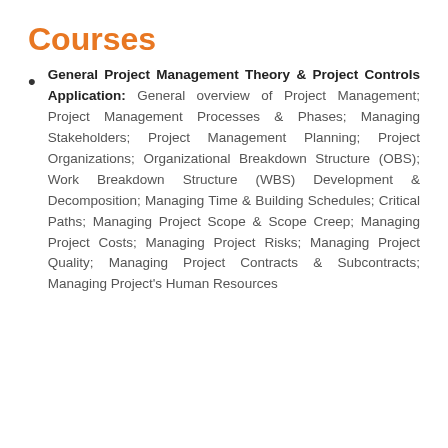Courses
General Project Management Theory & Project Controls Application: General overview of Project Management; Project Management Processes & Phases; Managing Stakeholders; Project Management Planning; Project Organizations; Organizational Breakdown Structure (OBS); Work Breakdown Structure (WBS) Development & Decomposition; Managing Time & Building Schedules; Critical Paths; Managing Project Scope & Scope Creep; Managing Project Costs; Managing Project Risks; Managing Project Quality; Managing Project Contracts & Subcontracts; Managing Project's Human Resources